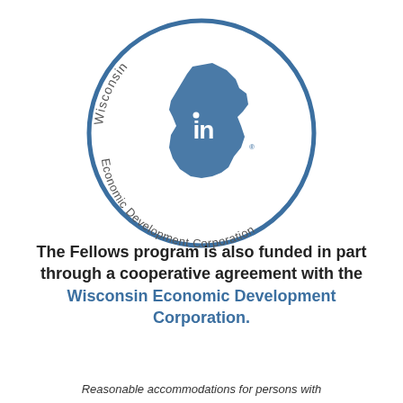[Figure (logo): Wisconsin Economic Development Corporation circular logo with Wisconsin state shape silhouette containing 'in' text, surrounded by text 'Wisconsin Economic Development Corporation' in a circle]
The Fellows program is also funded in part through a cooperative agreement with the Wisconsin Economic Development Corporation.
Reasonable accommodations for persons with